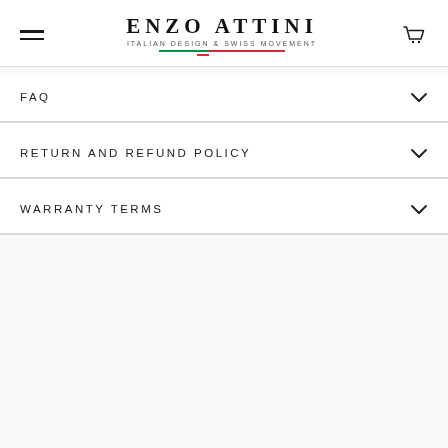ENZO ATTINI — ITALIAN DESIGN & SWISS MOVEMENT
FAQ
RETURN AND REFUND POLICY
WARRANTY TERMS